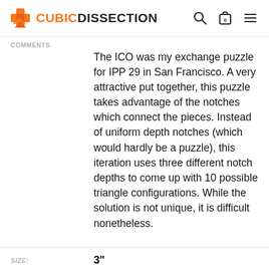CUBICDISSECTION
COMMENTS
The ICO was my exchange puzzle for IPP 29 in San Francisco. A very attractive put together, this puzzle takes advantage of the notches which connect the pieces. Instead of uniform depth notches (which would hardly be a puzzle), this iteration uses three different notch depths to come up with 10 possible triangle configurations. While the solution is not unique, it is difficult nonetheless.
SIZE: 3"